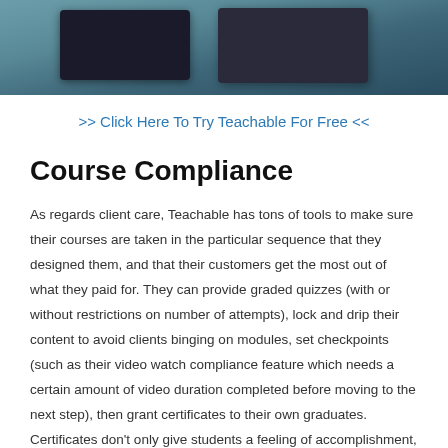[Figure (photo): Photo banner showing laptops on a desk, two MacBook laptops visible, workspace setting with coffee cup in background]
>> Click Here To Try Teachable For Free <<
Course Compliance
As regards client care, Teachable has tons of tools to make sure their courses are taken in the particular sequence that they designed them, and that their customers get the most out of what they paid for. They can provide graded quizzes (with or without restrictions on number of attempts), lock and drip their content to avoid clients binging on modules, set checkpoints (such as their video watch compliance feature which needs a certain amount of video duration completed before moving to the next step), then grant certificates to their own graduates. Certificates don't only give students a feeling of accomplishment, they're also another way to add value to customers.